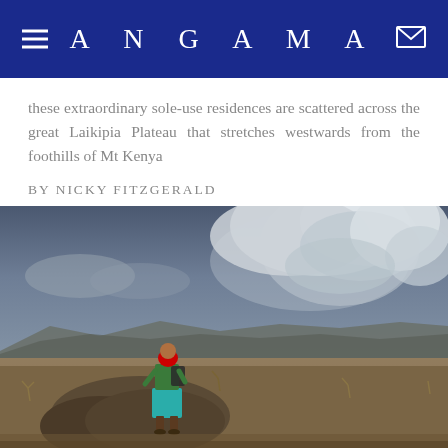ANGAMA
these extraordinary sole-use residences are scattered across the great Laikipia Plateau that stretches westwards from the foothills of Mt Kenya
BY NICKY FITZGERALD
[Figure (photo): A person in colorful traditional dress (red, teal, green garments) stands on a rocky outcrop overlooking the vast Laikipia Plateau under a dramatic cloudy sky, with distant mountains on the horizon.]